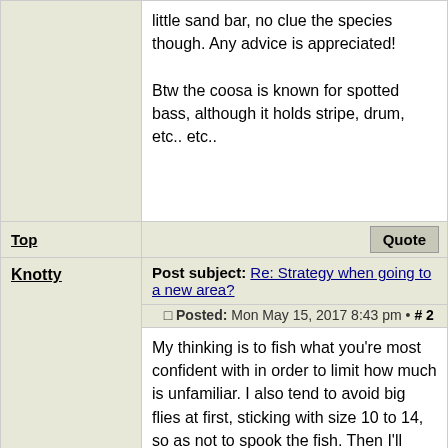little sand bar, no clue the species though. Any advice is appreciated!

Btw the coosa is known for spotted bass, although it holds stripe, drum, etc.. etc..
Top
Quote
Knotty
Post subject: Re: Strategy when going to a new area?
Posted: Mon May 15, 2017 8:43 pm • # 2
Hero Member
Joined:
My thinking is to fish what you're most confident with in order to limit how much is unfamiliar. I also tend to avoid big flies at first, sticking with size 10 to 14, so as not to spook the fish. Then I'll move up to larger woolly buggers (the universal fly).